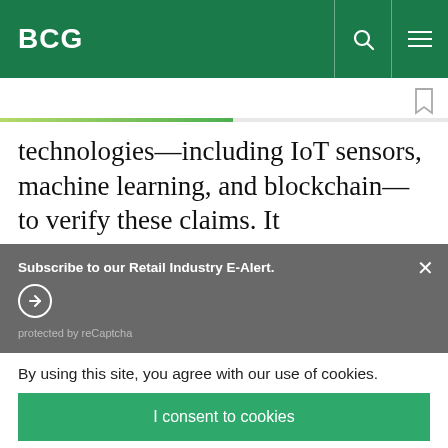BCG
technologies—including IoT sensors, machine learning, and blockchain—to verify these claims. It
Subscribe to our Retail Industry E-Alert.
protected by reCaptcha
By using this site, you agree with our use of cookies.
I consent to cookies
Want to know more?
Read our Cookie Policy